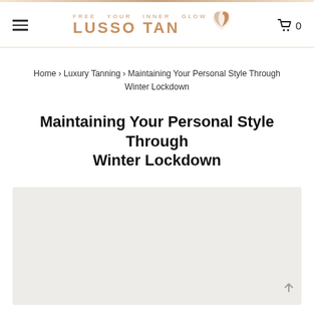FREE YOUR INNER GLOW LUSSO TAN
Home › Luxury Tanning › Maintaining Your Personal Style Through Winter Lockdown
Maintaining Your Personal Style Through Winter Lockdown
[Figure (photo): Light grey placeholder image below the article title]